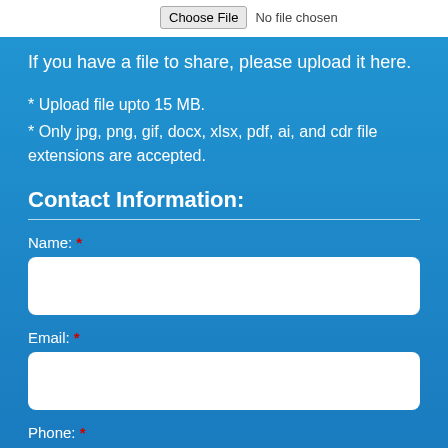[Figure (screenshot): File chooser UI element with 'Choose File' button and 'No file chosen' text on white background]
If you have a file to share, please upload it here.
* Upload file upto 15 MB.
* Only jpg, png, gif, docx, xlsx, pdf, ai, and cdr file extensions are accepted.
Contact Information:
Name: *
Email: *
Phone: *